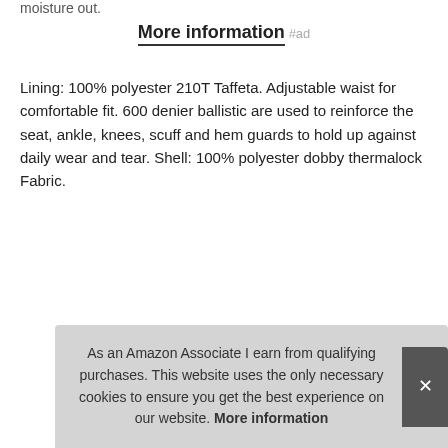moisture out.
More information #ad
Lining: 100% polyester 210T Taffeta. Adjustable waist for comfortable fit. 600 denier ballistic are used to reinforce the seat, ankle, knees, scuff and hem guards to hold up against daily wear and tear. Shell: 100% polyester dobby thermalock Fabric.
|  |  |
| --- | --- |
| Brand | Arctix #ad |
| Manufacturer | Arctix #ad |
| P |  |
As an Amazon Associate I earn from qualifying purchases. This website uses the only necessary cookies to ensure you get the best experience on our website. More information